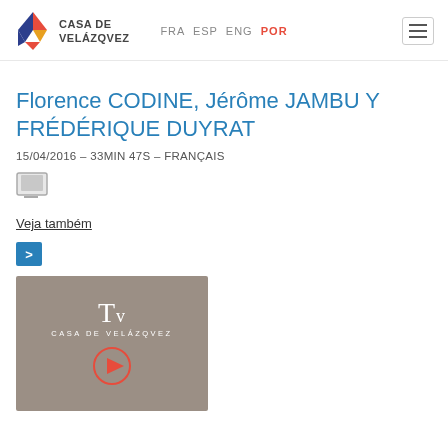CASA DE VELÁZQVEZ — FRA ESP ENG POR
Florence CODINE, Jérôme JAMBU Y FRÉDÉRIQUE DUYRAT
15/04/2016 – 33MIN 47S – FRANÇAIS
[Figure (screenshot): Video monitor icon]
Veja também
>
[Figure (screenshot): TV Casa de Velázqvez video thumbnail with play button circle]